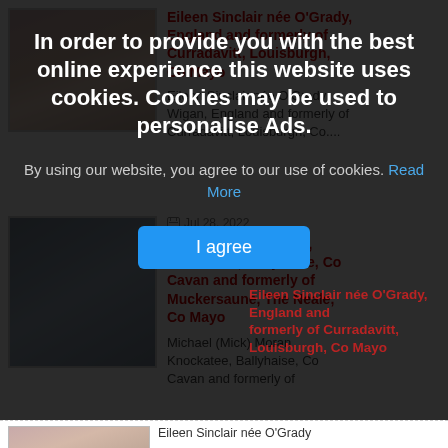[Figure (screenshot): Cookie consent overlay on a website showing obituary listings. The overlay has a dark semi-transparent background with bold white headline text about cookies, a subtext with a 'Read More' link, and a blue 'I agree' button. Behind the overlay, partially visible obituary listings are shown including Eileen Sinclair née O'Grady and Michael (Mick) Moran entries.]
In order to provide you with the best online experience this website uses cookies. Cookies may be used to personalise Ads.
By using our website, you agree to our use of cookies. Read More
I agree
Eileen Sinclair née O'Grady, England and formerly of Curradavitt, Louisburgh, Co Mayo
Eileen Sinclair née O'Grady Wigan, England and formerly of Curradavitt, Louisburgh, Co....
Jul 28, 2022
Michael (Mick) Moran, Knockatee, Ballyhaise, Co Cavan and formerly of Muckersaune, The Neale, Co Mayo
Michael (Mick) Moran Knockatee, Ballyhaise, Co Cavan and formerly of